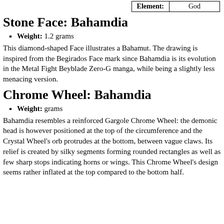| Element: | God |
| --- | --- |
Stone Face: Bahamdia
Weight: 1.2 grams
This diamond-shaped Face illustrates a Bahamut. The drawing is inspired from the Begirados Face mark since Bahamdia is its evolution in the Metal Fight Beyblade Zero-G manga, while being a slightly less menacing version.
Chrome Wheel: Bahamdia
Weight: grams
Bahamdia resembles a reinforced Gargole Chrome Wheel: the demonic head is however positioned at the top of the circumference and the Crystal Wheel's orb protrudes at the bottom, between vague claws. Its relief is created by silky segments forming rounded rectangles as well as few sharp stops indicating horns or wings. This Chrome Wheel's design seems rather inflated at the top compared to the bottom half.